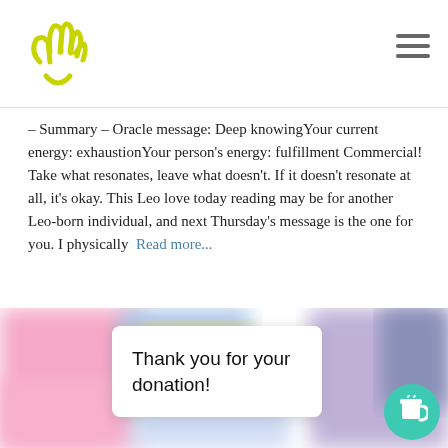[Figure (logo): Yellow hand/smiley logo icon]
– Summary – Oracle message: Deep knowingYour current energy: exhaustionYour person's energy: fulfillment Commercial! Take what resonates, leave what doesn't. If it doesn't resonate at all, it's okay. This Leo love today reading may be for another Leo-born individual, and next Thursday's message is the one for you. I physically Read more...
By A, 2 years ago
[Figure (photo): Blurred tarot/oracle cards background with a white popup card reading 'Thank you for your donation!' and a teal coffee cup donation button in the bottom right corner.]